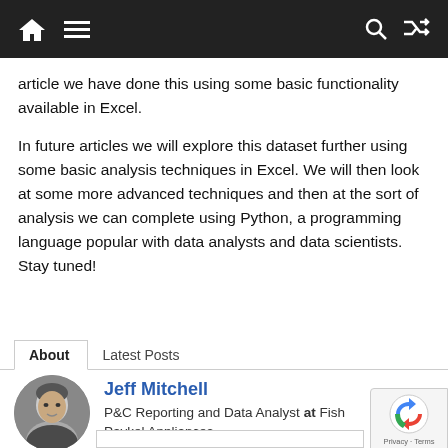Navigation bar with home, menu, search, and shuffle icons
article we have done this using some basic functionality available in Excel.
In future articles we will explore this dataset further using some basic analysis techniques in Excel. We will then look at some more advanced techniques and then at the sort of analysis we can complete using Python, a programming language popular with data analysts and data scientists. Stay tuned!
About | Latest Posts
Jeff Mitchell
P&C Reporting and Data Analyst at Fisher & Paykel Appliances